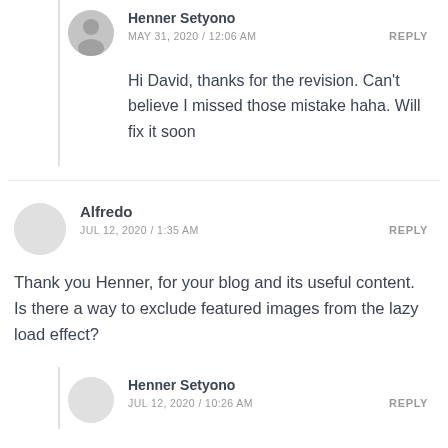Henner Setyono
MAY 31, 2020 / 12:06 AM
REPLY
Hi David, thanks for the revision. Can't believe I missed those mistake haha. Will fix it soon
Alfredo
JUL 12, 2020 / 1:35 AM
REPLY
Thank you Henner, for your blog and its useful content. Is there a way to exclude featured images from the lazy load effect?
Henner Setyono
JUL 12, 2020 / 10:26 AM
REPLY